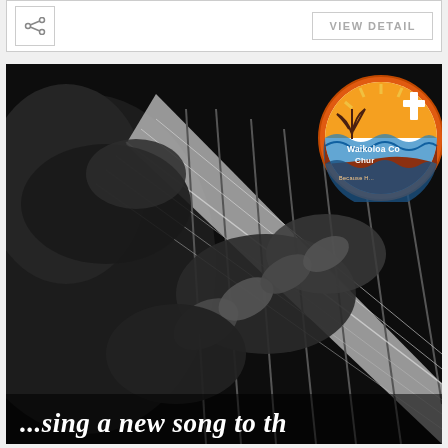[Figure (other): Top bar with share icon button on left and VIEW DETAIL button on right, white background with light gray border]
[Figure (photo): Black and white close-up photo of hands playing an electric guitar fretboard, with a circular Waikoloa Community Church logo overlaid in the upper right corner, and text reading '...sing a new song to th' in white italic at the bottom]